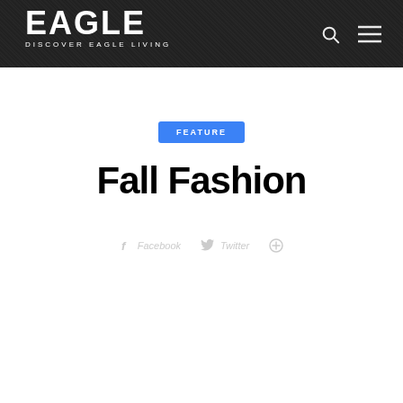EAGLE — DISCOVER EAGLE LIVING
FEATURE
Fall Fashion
Facebook   Twitter